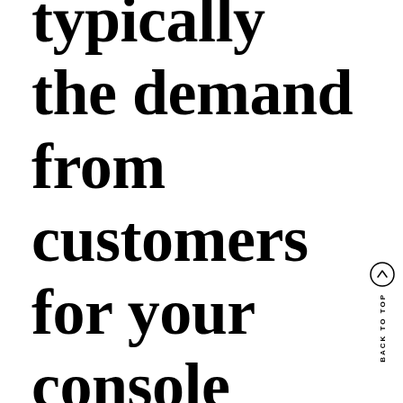typically the demand from customers for your console includes improved a lot. A large
BACK TO TOP ↑